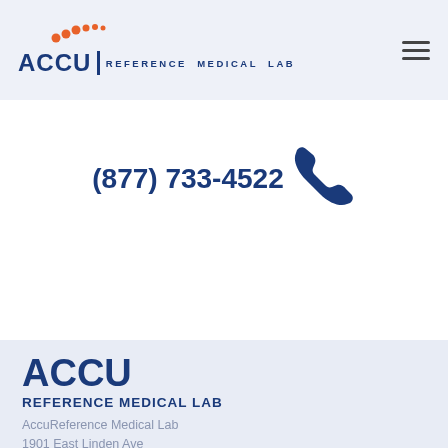ACCU | REFERENCE MEDICAL LAB — navigation header with logo and hamburger menu
(877) 733-4522
[Figure (illustration): Dark blue telephone handset icon]
ACCU
REFERENCE MEDICAL LAB
AccuReference Medical Lab
1901 East Linden Ave
Linden, NJ 07036